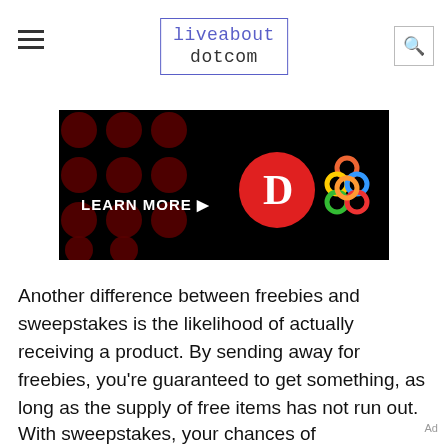liveabout dotcom
[Figure (screenshot): Advertisement banner with dark background, red polka dots, LEARN MORE text with arrow, a red circle with letter D logo, and a colorful interlocked rings logo]
Another difference between freebies and sweepstakes is the likelihood of actually receiving a product. By sending away for freebies, you're guaranteed to get something, as long as the supply of free items has not run out.
With sweepstakes, your chances of winning are
Ad